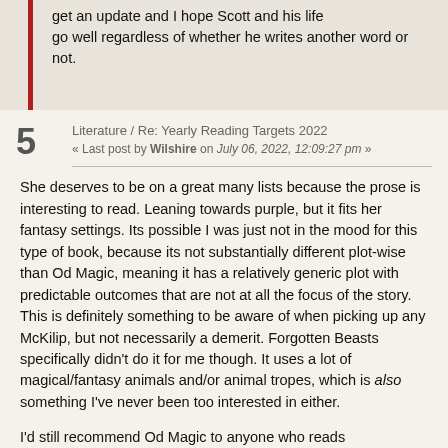get an update and I hope Scott and his life go well regardless of whether he writes another word or not.
Literature / Re: Yearly Reading Targets 2022
« Last post by Wilshire on July 06, 2022, 12:09:27 pm »
She deserves to be on a great many lists because the prose is interesting to read. Leaning towards purple, but it fits her fantasy settings. Its possible I was just not in the mood for this type of book, because its not substantially different plot-wise than Od Magic, meaning it has a relatively generic plot with predictable outcomes that are not at all the focus of the story. This is definitely something to be aware of when picking up any McKilip, but not necessarily a demerit. Forgotten Beasts specifically didn't do it for me though. It uses a lot of magical/fantasy animals and/or animal tropes, which is also something I've never been too interested in either.
I'd still recommend Od Magic to anyone who reads fantasy. The job archly follows a lot for the will